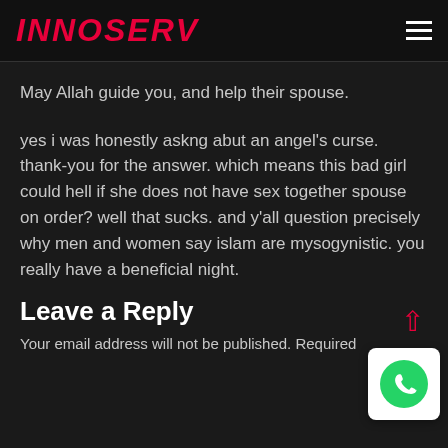INNOSERV
May Allah guide you, and help their spouse.
yes i was honestly askng abut an angel's curse. thank-you for the answer. which means this bad girl could hell if she does not have sex together spouse on order? well that sucks. and y'all question precisely why men and women say islam are mysogynistic. you really have a beneficial night.
Leave a Reply
Your email address will not be published. Required